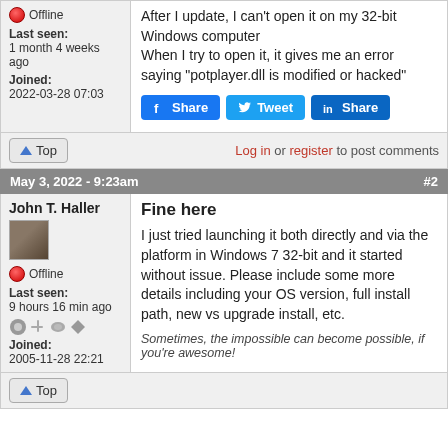Offline
Last seen: 1 month 4 weeks ago
Joined: 2022-03-28 07:03
After I update, I can't open it on my 32-bit Windows computer
When I try to open it, it gives me an error saying "potplayer.dll is modified or hacked"
Log in or register to post comments
May 3, 2022 - 9:23am
#2
John T. Haller
Offline
Last seen: 9 hours 16 min ago
Joined: 2005-11-28 22:21
Fine here
I just tried launching it both directly and via the platform in Windows 7 32-bit and it started without issue. Please include some more details including your OS version, full install path, new vs upgrade install, etc.
Sometimes, the impossible can become possible, if you're awesome!